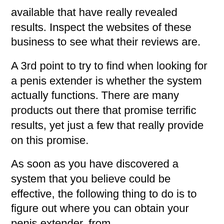available that have really revealed results. Inspect the websites of these business to see what their reviews are.
A 3rd point to try to find when looking for a penis extender is whether the system actually functions. There are many products out there that promise terrific results, yet just a few that really provide on this promise.
As soon as you have discovered a system that you believe could be effective, the following thing to do is to figure out where you can obtain your penis extender. from.
The very best area to purchase a penis extender is from the maker. Considering that much of these are made of clinical quality,